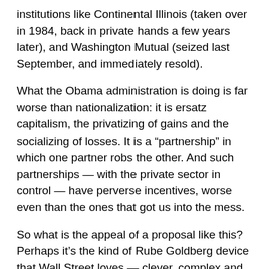institutions like Continental Illinois (taken over in 1984, back in private hands a few years later), and Washington Mutual (seized last September, and immediately resold).
What the Obama administration is doing is far worse than nationalization: it is ersatz capitalism, the privatizing of gains and the socializing of losses. It is a “partnership” in which one partner robs the other. And such partnerships — with the private sector in control — have perverse incentives, worse even than the ones that got us into the mess.
So what is the appeal of a proposal like this? Perhaps it’s the kind of Rube Goldberg device that Wall Street loves — clever, complex and nontransparent, allowing huge transfers of wealth to the financial markets. It has allowed the administration to avoid going back to Congress to ask for the money needed to fix our banks, and it provided a way to avoid nationalization.